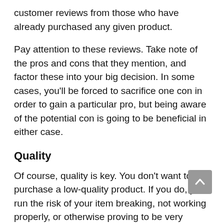customer reviews from those who have already purchased any given product.
Pay attention to these reviews. Take note of the pros and cons that they mention, and factor these into your big decision. In some cases, you'll be forced to sacrifice one con in order to gain a particular pro, but being aware of the potential con is going to be beneficial in either case.
Quality
Of course, quality is key. You don't want to purchase a low-quality product. If you do, you run the risk of your item breaking, not working properly, or otherwise proving to be very disappointing, as well as a waste of money.